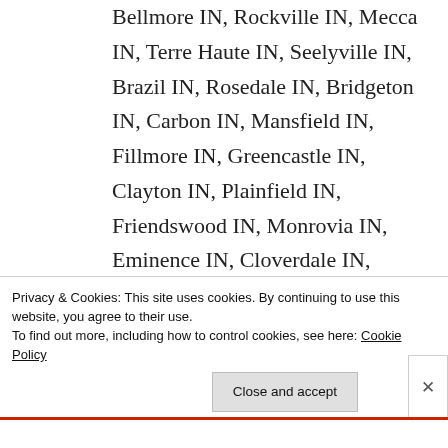Bellmore IN, Rockville IN, Mecca IN, Terre Haute IN, Seelyville IN, Brazil IN, Rosedale IN, Bridgeton IN, Carbon IN, Mansfield IN, Fillmore IN, Greencastle IN, Clayton IN, Plainfield IN, Friendswood IN, Monrovia IN, Eminence IN, Cloverdale IN, Poland IN, Center Point IN, Ashboro IN, Riley IN, Youngstown
Privacy & Cookies: This site uses cookies. By continuing to use this website, you agree to their use.
To find out more, including how to control cookies, see here: Cookie Policy